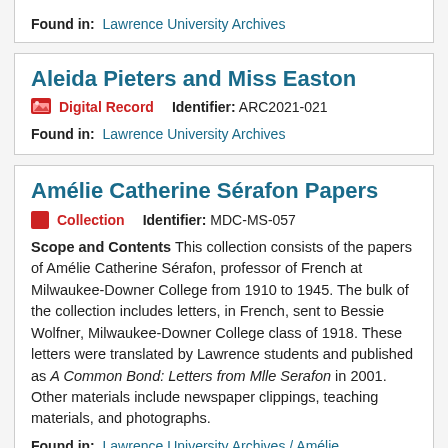Found in: Lawrence University Archives
Aleida Pieters and Miss Easton
Digital Record   Identifier: ARC2021-021
Found in: Lawrence University Archives
Amélie Catherine Sérafon Papers
Collection   Identifier: MDC-MS-057
Scope and Contents This collection consists of the papers of Amélie Catherine Sérafon, professor of French at Milwaukee-Downer College from 1910 to 1945. The bulk of the collection includes letters, in French, sent to Bessie Wolfner, Milwaukee-Downer College class of 1918. These letters were translated by Lawrence students and published as A Common Bond: Letters from Mlle Serafon in 2001. Other materials include newspaper clippings, teaching materials, and photographs.
Found in: Lawrence University Archives / Amélie